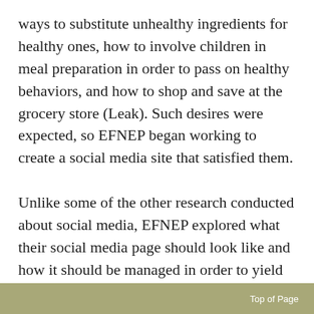ways to substitute unhealthy ingredients for healthy ones, how to involve children in meal preparation in order to pass on healthy behaviors, and how to shop and save at the grocery store (Leak). Such desires were expected, so EFNEP began working to create a social media site that satisfied them.

Unlike some of the other research conducted about social media, EFNEP explored what their social media page should look like and how it should be managed in order to yield the best results. The focus groups stressed the importance of photos and visual appeals, concise, well-written messages, vibrant
Top of Page